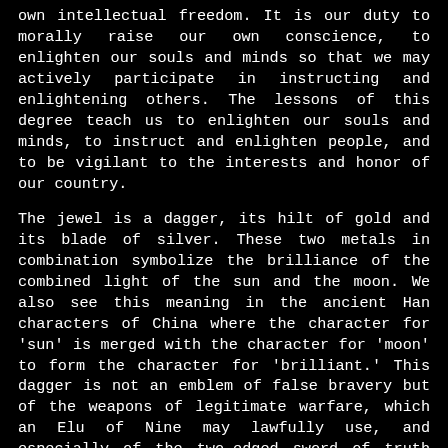own intellectual freedom. It is our duty to morally raise our own conscience, to enlighten our souls and minds so that we may actively participate in instructing and enlightening others. The lessons of this degree teach us to enlighten our souls and minds, to instruct and enlighten people, and to be vigilant to the interests and honor of our country.
The jewel is a dagger, its hilt of gold and its blade of silver. These two metals in combination symbolize the brilliance of the combined light of the sun and the moon. We also see this meaning in the ancient Han characters of China where the character for 'sun' is merged with the character for 'moon' to form the character for 'brilliant.' This dagger is not an emblem of false bravery but of the weapons of legitimate warfare, which an Elu of Nine may lawfully use, and especially of the two-edged sword of truth with which every Mason should be armed. A reference to the dagger is also found in the lecture for the Knight of the Brazen Serpent Degree, "Even the dagger of the Elu of the Nine is that used by the Mysteries of Mithras [a Persian deity]; which, with its blade black and hilt white, was an emblem of the two principles of Light and Darkness" (pg. 506). We shall see this